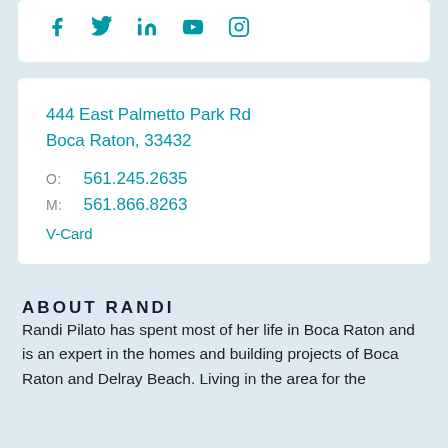[Figure (other): Social media icons row: Facebook, Twitter, LinkedIn, YouTube, Instagram in teal color]
444 East Palmetto Park Rd
Boca Raton, 33432

O: 561.245.2635
M: 561.866.8263

V-Card
ABOUT RANDI
Randi Pilato has spent most of her life in Boca Raton and is an expert in the homes and building projects of Boca Raton and Delray Beach. Living in the area for the